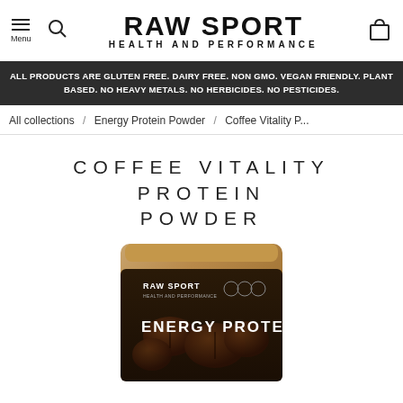RAW SPORT HEALTH AND PERFORMANCE
ALL PRODUCTS ARE GLUTEN FREE. DAIRY FREE. NON GMO. VEGAN FRIENDLY. PLANT BASED. NO HEAVY METALS. NO HERBICIDES. NO PESTICIDES.
All collections / Energy Protein Powder / Coffee Vitality P...
COFFEE VITALITY PROTEIN POWDER
[Figure (photo): Product bag of Raw Sport Energy Protein powder in coffee/dark brown packaging with coffee beans visible, showing RAW SPORT branding and ENERGY PROTEIN text on the label.]